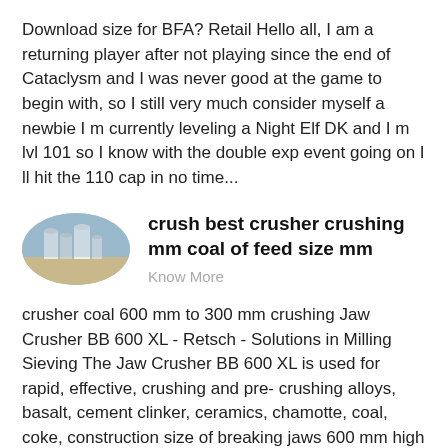Download size for BFA? Retail Hello all, I am a returning player after not playing since the end of Cataclysm and I was never good at the game to begin with, so I still very much consider myself a newbie I m currently leveling a Night Elf DK and I m lvl 101 so I know with the double exp event going on I ll hit the 110 cap in no time...
[Figure (photo): Oval-shaped photo of industrial facility with silos/towers]
crush best crusher crushing mm coal of feed size mm
Know More
crusher coal 600 mm to 300 mm crushing Jaw Crusher BB 600 XL - Retsch - Solutions in Milling Sieving The Jaw Crusher BB 600 XL is used for rapid, effective, crushing and pre- crushing alloys, basalt, cement clinker, ceramics, chamotte, coal, coke, construction size of breaking jaws 600 mm high / 400 mm wide no-rebound